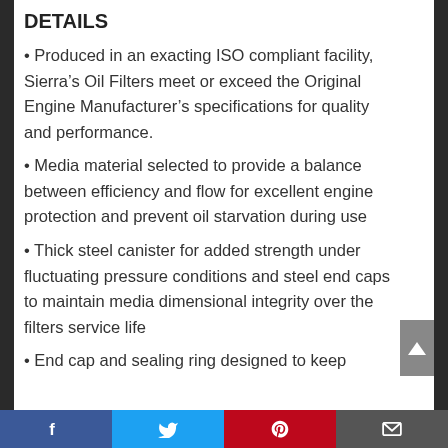DETAILS
Produced in an exacting ISO compliant facility, Sierra’s Oil Filters meet or exceed the Original Engine Manufacturer’s specifications for quality and performance.
Media material selected to provide a balance between efficiency and flow for excellent engine protection and prevent oil starvation during use
Thick steel canister for added strength under fluctuating pressure conditions and steel end caps to maintain media dimensional integrity over the filters service life
End cap and sealing ring designed to keep
Facebook | Twitter | Pinterest | Email